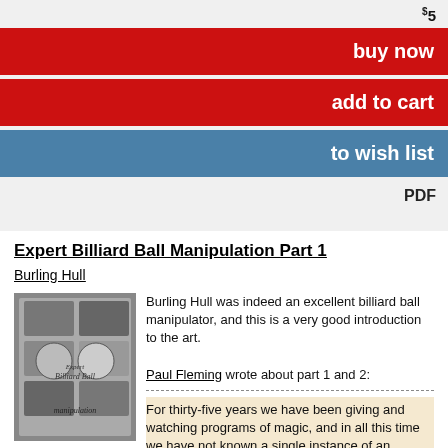$5
buy now
add to cart
to wish list
PDF
Expert Billiard Ball Manipulation Part 1
Burling Hull
[Figure (photo): Black and white book cover for Expert Billiard Ball Manipulation showing billiard balls and performance photos]
Burling Hull was indeed an excellent billiard ball manipulator, and this is a very good introduction to the art.

Paul Fleming wrote about part 1 and 2:

For thirty-five years we have been giving and watching programs of magic, and in all this time we have not known a single instance of an audience failing to receive with enthusiasm a first